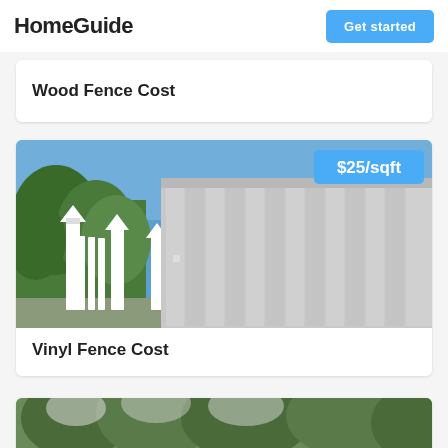HomeGuide
Wood Fence Cost
[Figure (photo): White vinyl privacy fence with decorative post caps against a blue sky, with green trees visible on the left side. A grey aluminum fence panel is visible on the right.]
Vinyl Fence Cost
[Figure (photo): Chain link fence with green evergreen trees in the background, partially visible at the bottom of the page.]